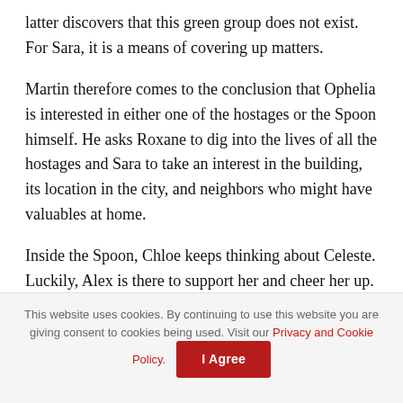latter discovers that this green group does not exist. For Sara, it is a means of covering up matters.
Martin therefore comes to the conclusion that Ophelia is interested in either one of the hostages or the Spoon himself. He asks Roxane to dig into the lives of all the hostages and Sara to take an interest in the building, its location in the city, and neighbors who might have valuables at home.
Inside the Spoon, Chloe keeps thinking about Celeste. Luckily, Alex is there to support her and cheer her up. This hostage-taking ends up bringing them together. Chloe apologizes for getting upset last week about Judith's
This website uses cookies. By continuing to use this website you are giving consent to cookies being used. Visit our Privacy and Cookie Policy. I Agree